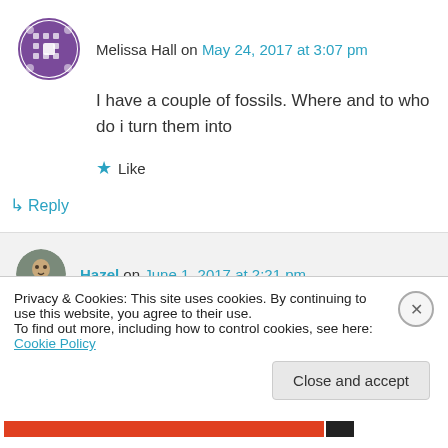Melissa Hall on May 24, 2017 at 3:07 pm
I have a couple of fossils. Where and to who do i turn them into
★ Like
↳ Reply
Hazel on June 1, 2017 at 2:21 pm
Hi Melissa
Privacy & Cookies: This site uses cookies. By continuing to use this website, you agree to their use.
To find out more, including how to control cookies, see here: Cookie Policy
Close and accept